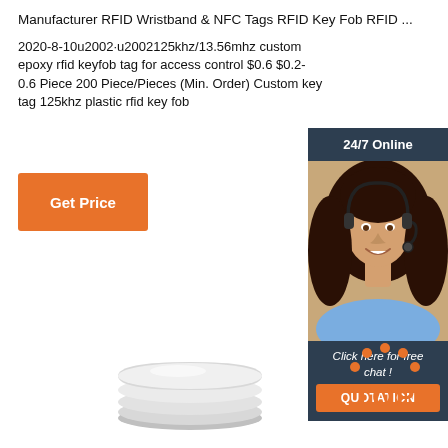Manufacturer RFID Wristband & NFC Tags RFID Key Fob RFID ...
2020-8-10u2002·u2002125khz/13.56mhz custom epoxy rfid keyfob tag for access control $0.6 $0.2-0.6 Piece 200 Piece/Pieces (Min. Order) Custom key tag 125khz plastic rfid key fob
[Figure (other): Orange Get Price button]
[Figure (infographic): 24/7 Online customer support widget with woman wearing headset, 'Click here for free chat!' text, and orange QUOTATION button]
[Figure (photo): Stack of white circular RFID disc tags]
[Figure (logo): TOP logo with orange dots arranged in an arc above the word TOP in orange]